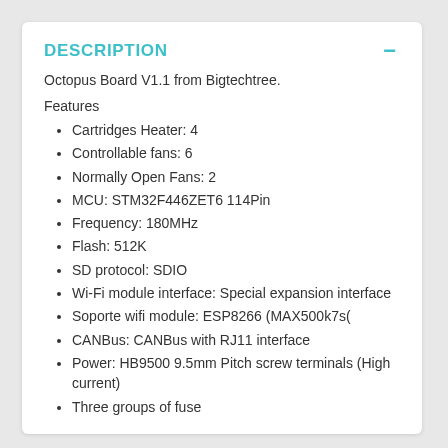DESCRIPTION
Octopus Board V1.1 from Bigtechtree.
Features
Cartridges Heater: 4
Controllable fans: 6
Normally Open Fans: 2
MCU: STM32F446ZET6 114Pin
Frequency: 180MHz
Flash: 512K
SD protocol: SDIO
Wi-Fi module interface: Special expansion interface
Soporte wifi module: ESP8266 (MAX500k7s(
CANBus: CANBus with RJ11 interface
Power: HB9500 9.5mm Pitch screw terminals (High current)
Three groups of fuse